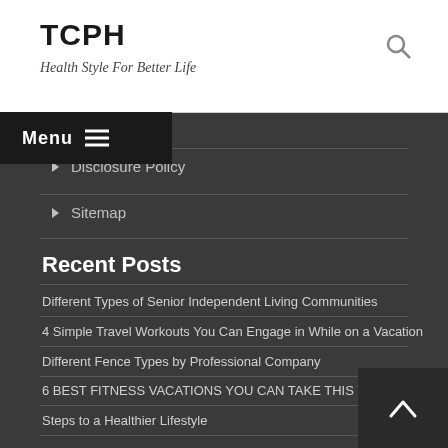TCPH
Health Style For Better Life
Advertise Here
Disclosure Policy
Sitemap
Recent Posts
Different Types of Senior Independent Living Communities
4 Simple Travel Workouts You Can Engage in While on a Vacation
Different Fence Types by Professional Company
6 BEST FITNESS VACATIONS YOU CAN TAKE THIS YEAR
Steps to a Healthier Lifestyle